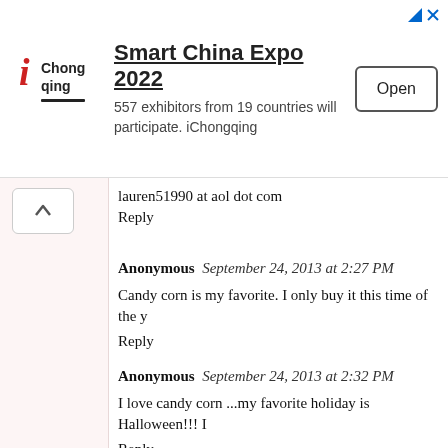[Figure (logo): iChongqing logo - red 'i' with Chinese-style text 'Chong ding']
Smart China Expo 2022
557 exhibitors from 19 countries will participate. iChongqing
[Open button]
lauren51990 at aol dot com
Reply
Anonymous  September 24, 2013 at 2:27 PM
Candy corn is my favorite. I only buy it this time of the y
Reply
Anonymous  September 24, 2013 at 2:32 PM
I love candy corn ...my favorite holiday is Halloween!!! I
Reply
Unknown  September 24, 2013 at 5:10 PM
My favorite Halloween candy is candy c...